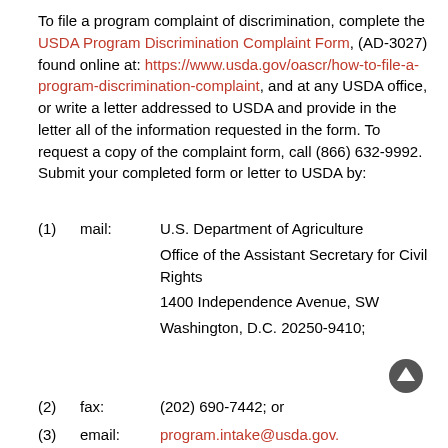To file a program complaint of discrimination, complete the USDA Program Discrimination Complaint Form, (AD-3027) found online at: https://www.usda.gov/oascr/how-to-file-a-program-discrimination-complaint, and at any USDA office, or write a letter addressed to USDA and provide in the letter all of the information requested in the form. To request a copy of the complaint form, call (866) 632-9992.  Submit your completed form or letter to USDA by:
(1)   mail:      U.S. Department of Agriculture
Office of the Assistant Secretary for Civil Rights
1400 Independence Avenue, SW
Washington, D.C. 20250-9410;
(2)   fax:       (202) 690-7442; or
(3)   email:     program.intake@usda.gov.